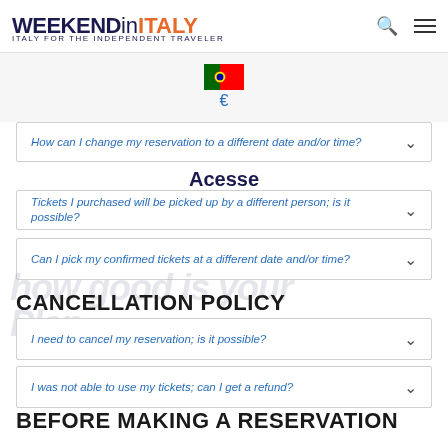WEEKEND in ITALY — ITALY FOR THE INDEPENDENT TRAVELER
[Figure (other): Portuguese flag icon and euro currency symbol]
How can I change my reservation to a different date and/or time?
Acesse
Tickets I purchased will be picked up by a different person; is it possible?
Can I pick my confirmed tickets at a different date and/or time?
CANCELLATION POLICY
I need to cancel my reservation; is it possible?
I was not able to use my tickets; can I get a refund?
BEFORE MAKING A RESERVATION